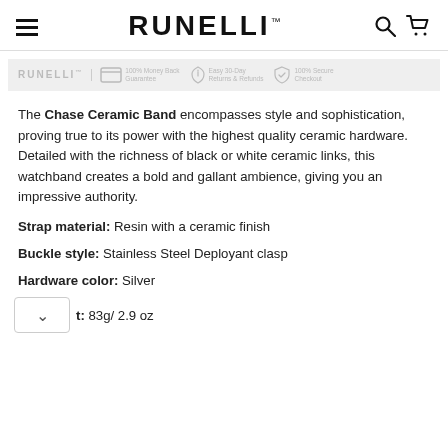RUNELLI
[Figure (logo): Runelli trust banner with logo, 100% Money Back Guarantee, Easy 30-Day Returns & Refunds, 100% Secure Checkout badges]
The Chase Ceramic Band encompasses style and sophistication, proving true to its power with the highest quality ceramic hardware. Detailed with the richness of black or white ceramic links, this watchband creates a bold and gallant ambience, giving you an impressive authority.
Strap material: Resin with a ceramic finish
Buckle style: Stainless Steel Deployant clasp
Hardware color: Silver
t: 83g/ 2.9 oz